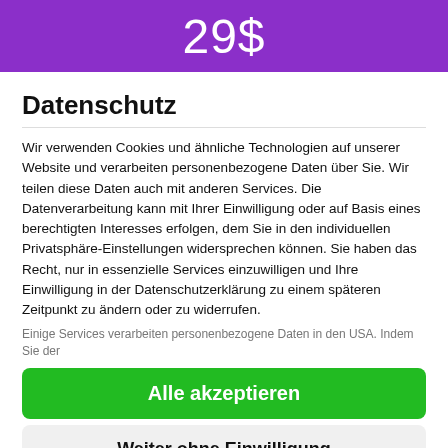29$
Datenschutz
Wir verwenden Cookies und ähnliche Technologien auf unserer Website und verarbeiten personenbezogene Daten über Sie. Wir teilen diese Daten auch mit anderen Services. Die Datenverarbeitung kann mit Ihrer Einwilligung oder auf Basis eines berechtigten Interesses erfolgen, dem Sie in den individuellen Privatsphäre-Einstellungen widersprechen können. Sie haben das Recht, nur in essenzielle Services einzuwilligen und Ihre Einwilligung in der Datenschutzerklärung zu einem späteren Zeitpunkt zu ändern oder zu widerrufen.
Einige Services verarbeiten personenbezogene Daten in den USA. Indem Sie der
Alle akzeptieren
Weiter ohne Einwilligung
Individuelle Privatsphäre-Einstellungen
Datenschutzerklärung • Impressum • Cookie Consent mit Real Cookie Banner